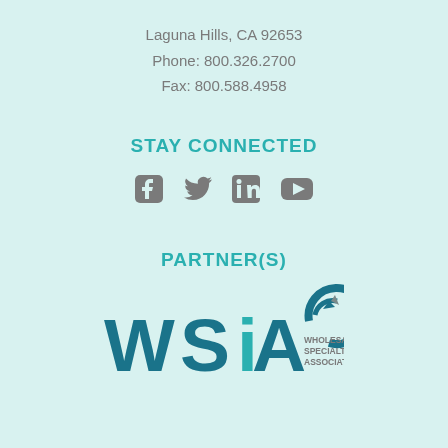Laguna Hills, CA 92653
Phone: 800.326.2700
Fax: 800.588.4958
STAY CONNECTED
[Figure (other): Social media icons: Facebook, Twitter, LinkedIn, YouTube]
PARTNER(S)
[Figure (logo): WSIA – Wholesale & Specialty Insurance Association logo]